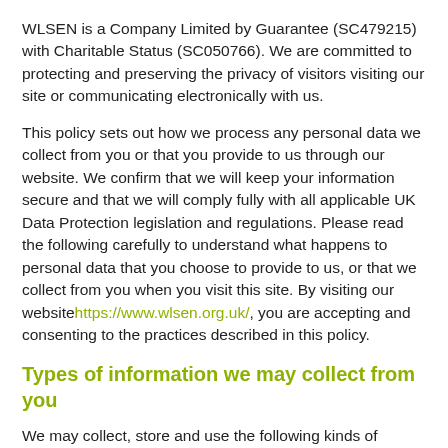WLSEN is a Company Limited by Guarantee (SC479215) with Charitable Status (SC050766). We are committed to protecting and preserving the privacy of visitors visiting our site or communicating electronically with us.
This policy sets out how we process any personal data we collect from you or that you provide to us through our website. We confirm that we will keep your information secure and that we will comply fully with all applicable UK Data Protection legislation and regulations. Please read the following carefully to understand what happens to personal data that you choose to provide to us, or that we collect from you when you visit this site. By visiting our website https://www.wlsen.org.uk/, you are accepting and consenting to the practices described in this policy.
Types of information we may collect from you
We may collect, store and use the following kinds of personal information about individuals who visit and